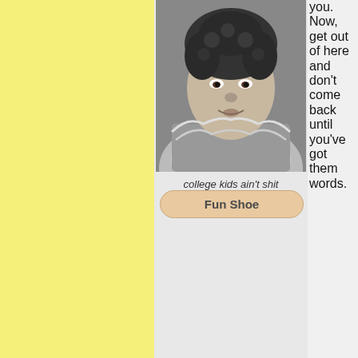[Figure (photo): Black and white photo of a young person with curly hair and a fur-collared jacket, mouth slightly open]
college kids ain't shit
Fun Shoe
you. Now, get out of here and don't come back until you've got them words.